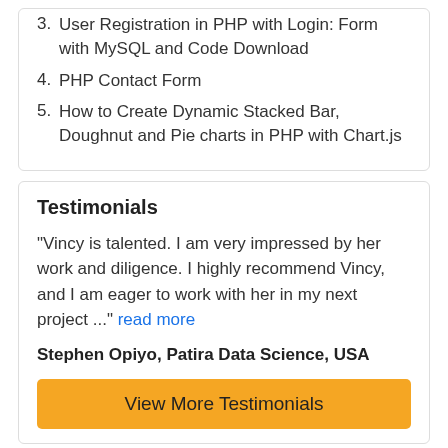3. User Registration in PHP with Login: Form with MySQL and Code Download
4. PHP Contact Form
5. How to Create Dynamic Stacked Bar, Doughnut and Pie charts in PHP with Chart.js
Testimonials
“Vincy is talented. I am very impressed by her work and diligence. I highly recommend Vincy, and I am eager to work with her in my next project ...” read more
Stephen Opiyo, Patira Data Science, USA
View More Testimonials